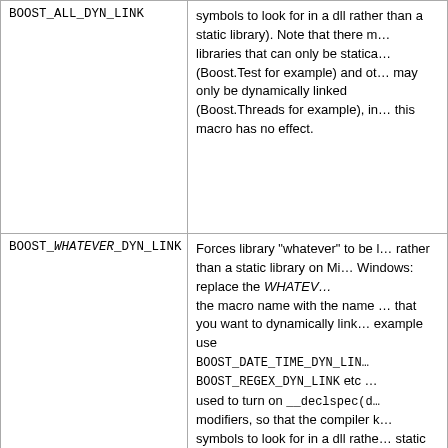| Macro | Description |
| --- | --- |
| BOOST_ALL_DYN_LINK | symbols to look for in a dll rather than a static library). Note that there m… libraries that can only be statica… (Boost.Test for example) and ot… may only be dynamically linked (Boost.Threads for example), in… this macro has no effect. |
| BOOST_WHATEVER_DYN_LINK | Forces library "whatever" to be l… rather than a static library on Mi… Windows: replace the WHATEV… the macro name with the name … that you want to dynamically lin… example use BOOST_DATE_TIME_DYN_LIN… BOOST_REGEX_DYN_LINK etc … used to turn on __declspec(d… modifiers, so that the compiler k… symbols to look for in a dll rathe… static library). Note that there m… libraries that can only be statica… (Boost.Test for example) and ot… may only be dynamically linked (Boost.Threads for example), in… this macro is unsupported. |
| BOOST_NO_LIB | Tells the config system not to au… select which libraries to link aga… Normally if a compiler supports … then the correct library build var… |